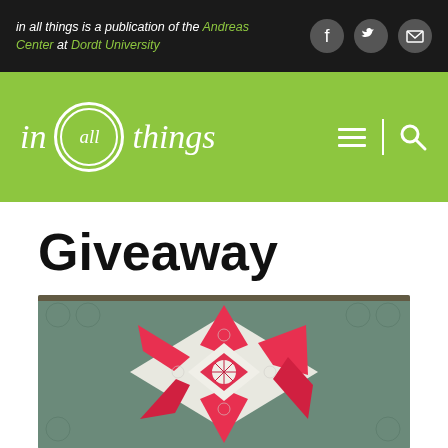in all things is a publication of the Andreas Center at Dordt University
[Figure (logo): in all things logo with white circle containing 'all' on green background, with hamburger menu and search icon]
Giveaway
[Figure (photo): A quilt with red and white star/poinsettia pattern on grey/green quilted background]